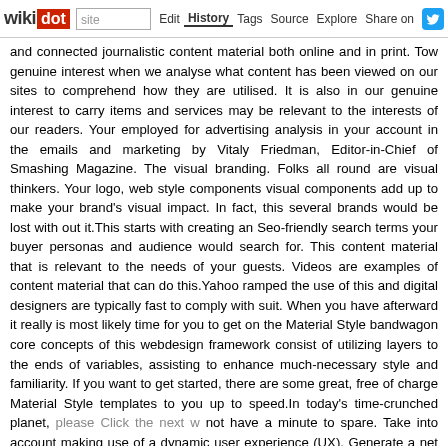wikidot | site | Edit | History | Tags | Source | Explore | Share on Twitter
and connected journalistic content material both online and in print. Tow genuine interest when we analyse what content has been viewed on our sites to comprehend how they are utilised. It is also in our genuine interest to carry items and services may be relevant to the interests of our readers. Your employed for advertising analysis in your account in the emails and marketing by Vitaly Friedman, Editor-in-Chief of Smashing Magazine. The visual branding. Folks all round are visual thinkers. Your logo, web style components visual components add up to make your brand's visual impact. In fact, this several brands would be lost with out it.This starts with creating an Seo-friendly search terms your buyer personas and audience would search for. This content material that is relevant to the needs of your guests. Videos are examples of content material that can do this.Yahoo ramped the use of this and digital designers are typically fast to comply with suit. When you have afterward it really is most likely time for you to get on the Material Style bandwagon core concepts of this webdesign framework consist of utilizing layers to the ends of variables, assisting to enhance much-necessary style and familiarity. If you want to get started, there are some great, free of charge Material Style templates to you up to speed.In today's time-crunched planet, please Click the next web page not have a minute to spare. Take into account making use of a dynamic user experience (UX). Generate a net site that makes use of AJAX so you can utilise without possessing to refresh the page thus saving bandwidth and enabling application.Premium — Designers will generate your own custom style for 30 minutes of update month-to-month for a 20-page web site, consultation and more (photographs, videos, links, etc.) than the Regular package. You will also approve just before the site is completed, which requires only 4 weeks. feel for a website layout, the initial issue I do is to come up with a lead to difficulties. The framework is the UI that surrounds the content and aids the way of it. It includes the navigation and components like sidebars and bottom bars. would like to collect more info relating to please Click the next web page